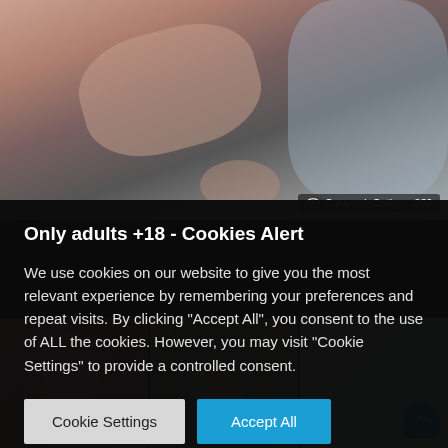[Figure (screenshot): Blurred/obscured adult content website screenshot showing top video thumbnail with overlay badge showing username 'CreampieCathy' and view count '239']
Only adults +18 - Cookies Alert
We use cookies on our website to give you the most relevant experience by remembering your preferences and repeat visits. By clicking "Accept All", you consent to the use of ALL the cookies. However, you may visit "Cookie Settings" to provide a controlled consent.
Cookie Settings
Accept All
[Figure (screenshot): Bottom strip of three blurred adult content video thumbnails]